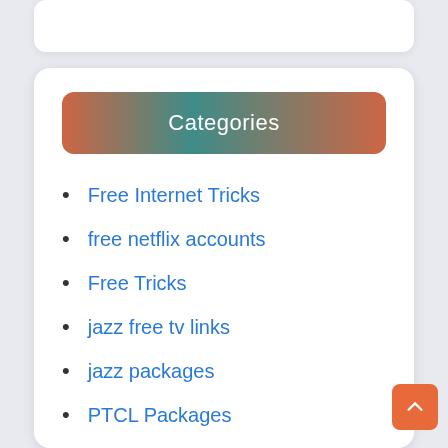Categories
Free Internet Tricks
free netflix accounts
Free Tricks
jazz free tv links
jazz packages
PTCL Packages
sim lagao offers
Technology